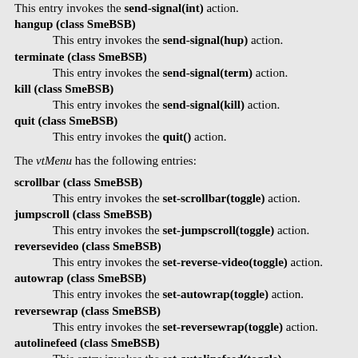This entry invokes the send-signal(int) action.
hangup (class SmeBSB)
        This entry invokes the send-signal(hup) action.
terminate (class SmeBSB)
        This entry invokes the send-signal(term) action.
kill (class SmeBSB)
        This entry invokes the send-signal(kill) action.
quit (class SmeBSB)
        This entry invokes the quit() action.
The vtMenu has the following entries:
scrollbar (class SmeBSB)
        This entry invokes the set-scrollbar(toggle) action.
jumpscroll (class SmeBSB)
        This entry invokes the set-jumpscroll(toggle) action.
reversevideo (class SmeBSB)
        This entry invokes the set-reverse-video(toggle) action.
autowrap (class SmeBSB)
        This entry invokes the set-autowrap(toggle) action.
reversewrap (class SmeBSB)
        This entry invokes the set-reversewrap(toggle) action.
autolinefeed (class SmeBSB)
        This entry invokes the set-autolinefeed(toggle)